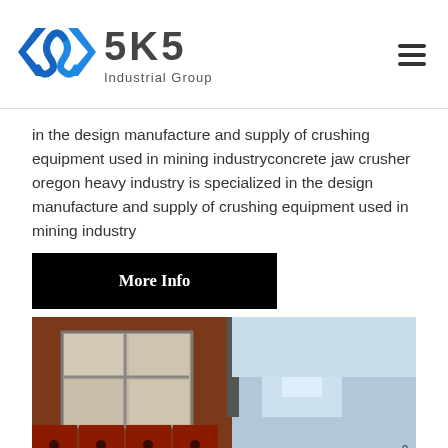[Figure (logo): SKS Industrial Group logo with blue diamond/arrow SVG icon and grey text]
in the design manufacture and supply of crushing equipment used in mining industryconcrete jaw crusher oregon heavy industry is specialized in the design manufacture and supply of crushing equipment used in mining industry
More Info
[Figure (photo): Industrial machinery photo showing what appears to be a large jaw crusher or industrial equipment in a factory/warehouse setting, with red/rust colored metal plates and a window visible in background]